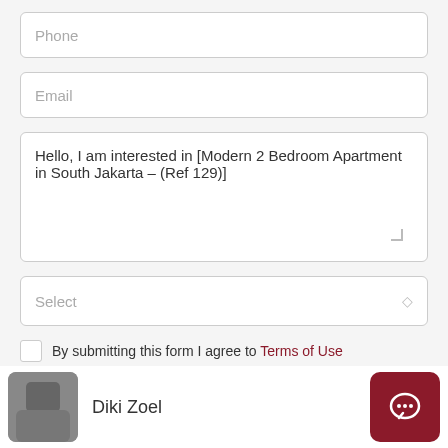Phone
Email
Hello, I am interested in [Modern 2 Bedroom Apartment in South Jakarta – (Ref 129)]
Select
By submitting this form I agree to Terms of Use
Send Message
Diki Zoel